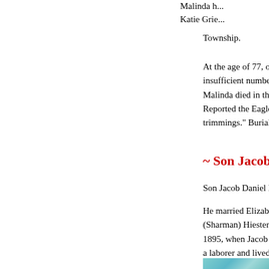Malinda h...
Katie Grie...
Township.
At the age of 77, on Nov. 7, 1924, afflicted with "perniceous... insufficient numbers of red blood cells are produced), and c... Malinda died in the Griesemer home. Funeral services were... Reported the Eagle, "The remains were attired in a cream si... trimmings." Burial was in Schwarzwald Cemetery.
~ Son Jacob Daniel Baud...
Son Jacob Daniel Bauder (1873-1939) was born in 1873.
He married Elizabeth E. "Lizzie" Hiester (1873-1933), daug... (Sharman) Hiester of Berks County. Their nuptials were hel... 1895, when Jacob and Lizzie both were age 22. At the time... a laborer and lived in Stonersville, while Lizzie made her h...
They had seven known children -- Raymond W. Bauder, Os... Bauder, Paul H. Bauder, William H. Bauder, Esther M. DeL...
The Reading Eagle once said that Jacob "conducted a produ... for many years and was a member of the Reformed denomi...
Elizabeth passed away in 1933 at the age of 60.
[Figure (photo): Partial teal/cyan colored image at bottom of page]